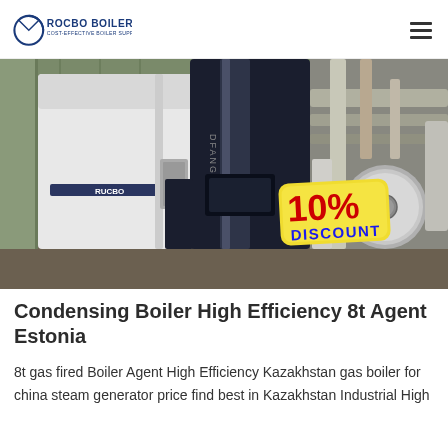ROCBO BOILER — COST-EFFECTIVE BOILER SUPPLIER
[Figure (photo): Industrial boiler equipment in a warehouse setting — tall white and dark blue/black boiler units standing upright, with piping and cylindrical tanks visible in the background. A '10% DISCOUNT' badge is overlaid in the bottom-right corner.]
Condensing Boiler High Efficiency 8t Agent Estonia
8t gas fired Boiler Agent High Efficiency Kazakhstan gas boiler for china steam generator price find best in Kazakhstan Industrial High